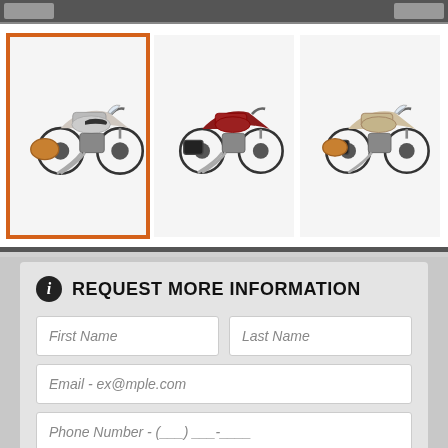[Figure (screenshot): Top navigation bar with two grey buttons on dark grey background]
[Figure (photo): Three Harley-Davidson motorcycles shown as thumbnails; the leftmost is selected with an orange border, showing a white/silver cruiser; center shows a dark red cruiser; right shows a brown/gold cruiser with saddlebags]
REQUEST MORE INFORMATION
First Name
Last Name
Email - ex@mple.com
Phone Number - (___) ___-____
Subscribe to Newsletter
[Figure (screenshot): reCAPTCHA widget with 'I'm not a robot' checkbox, reCAPTCHA logo, Privacy and Terms links]